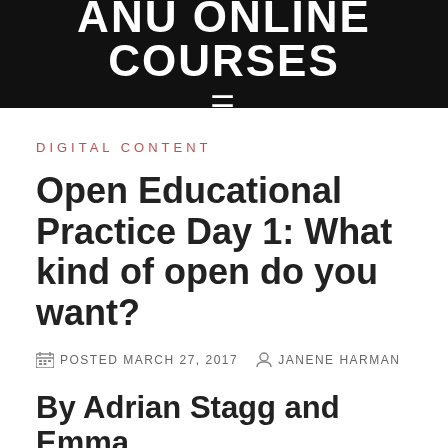ANU Online Courses
DIGITAL CONTENT
Open Educational Practice Day 1: What kind of open do you want?
POSTED MARCH 27, 2017   JANENE HARMAN
By Adrian Stagg and Emma